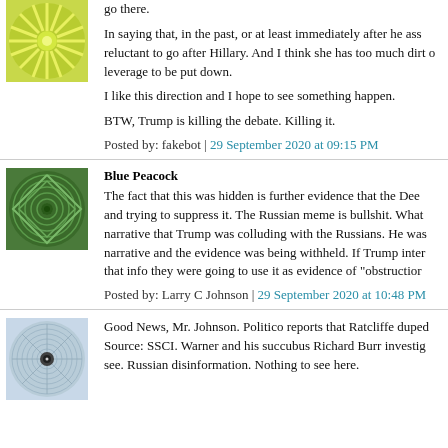go there.
In saying that, in the past, or at least immediately after he assumed office, he was reluctant to go after Hillary. And I think she has too much dirt on them with too much leverage to be put down.
I like this direction and I hope to see something happen.
BTW, Trump is killing the debate. Killing it.
Posted by: fakebot | 29 September 2020 at 09:15 PM
Blue Peacock
The fact that this was hidden is further evidence that the Deep State was concealing it and trying to suppress it. The Russian meme is bullshit. What they did was create a narrative that Trump was colluding with the Russians. He was not colluding but the narrative and the evidence was being withheld. If Trump interfered in the investigation of that info they were going to use it as evidence of "obstruction".
Posted by: Larry C Johnson | 29 September 2020 at 10:48 PM
Good News, Mr. Johnson. Politico reports that Ratcliffe duped the Intelligence Source: SSCI. Warner and his succubus Richard Burr investigated and had nothing to see. Russian disinformation. Nothing to see here.